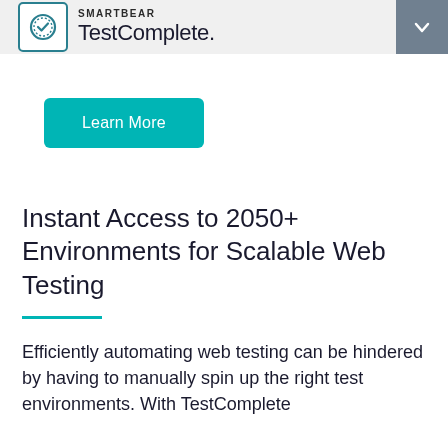SMARTBEAR TestComplete.
Learn More
Instant Access to 2050+ Environments for Scalable Web Testing
Efficiently automating web testing can be hindered by having to manually spin up the right test environments. With TestComplete